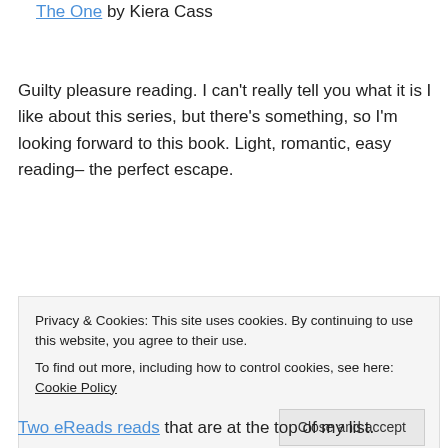The One by Kiera Cass
Guilty pleasure reading. I can't really tell you what it is I like about this series, but there's something, so I'm looking forward to this book. Light, romantic, easy reading– the perfect escape.
Privacy & Cookies: This site uses cookies. By continuing to use this website, you agree to their use.
To find out more, including how to control cookies, see here: Cookie Policy
Close and accept
Two eReads reads that are at the top of my list.